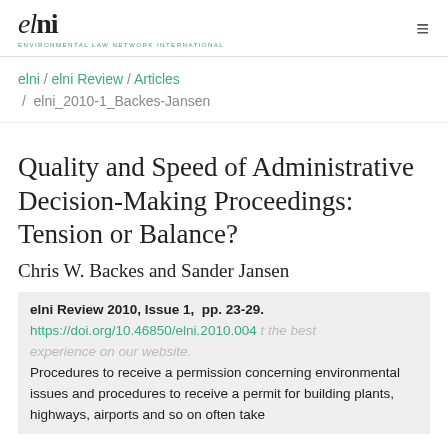elni | Environmental Law Network International
elni / elni Review / Articles / elni_2010-1_Backes-Jansen
Quality and Speed of Administrative Decision-Making Proceedings: Tension or Balance?
Chris W. Backes and Sander Jansen
elni Review 2010, Issue 1, pp. 23-29. https://doi.org/10.46850/elni.2010.004
Procedures to receive a permission concerning environmental issues and procedures to receive a permit for building plants, highways, airports and so on often take